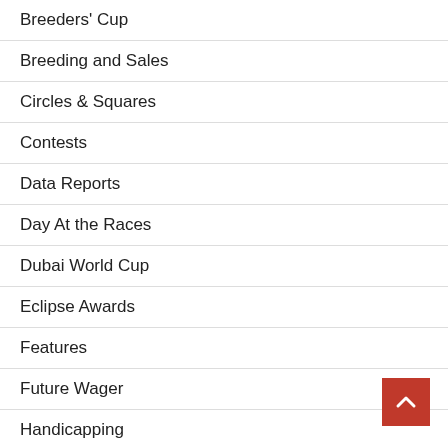Breeders' Cup
Breeding and Sales
Circles & Squares
Contests
Data Reports
Day At the Races
Dubai World Cup
Eclipse Awards
Features
Future Wager
Handicapping
Harness racing
Horseplayer Confessions
Kentucky Derby